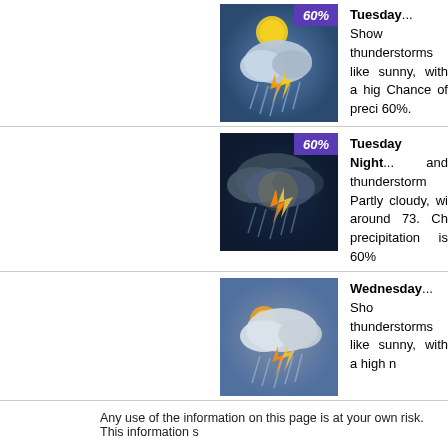[Figure (illustration): Weather icon: thunderstorm with sun partly visible, 60% precipitation badge]
Tuesday... Showers and thunderstorms likely. Mostly sunny, with a high near 90. Chance of precipitation is 60%.
[Figure (illustration): Weather icon: nighttime thunderstorm clouds, 60% precipitation badge]
Tuesday Night... Showers and thunderstorms likely. Partly cloudy, with a low around 73. Chance of precipitation is 60%.
[Figure (illustration): Weather icon: thunderstorm with partial sun, no percentage badge]
Wednesday... Showers and thunderstorms likely. Mostly sunny, with a high n
Any use of the information on this page is at your own risk. This information s